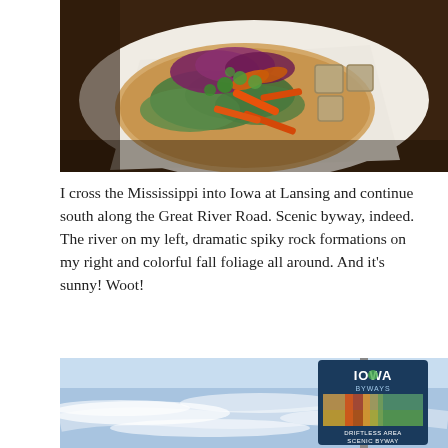[Figure (photo): Close-up photo of a pita flatbread topped with colorful vegetables including red cabbage, orange bell pepper strips, green lettuce, cilantro, and cubes of tofu, served on white parchment paper on a wooden surface.]
I cross the Mississippi into Iowa at Lansing and continue south along the Great River Road. Scenic byway, indeed. The river on my left, dramatic spiky rock formations on my right and colorful fall foliage all around. And it's sunny! Woot!
[Figure (photo): Photo of an Iowa Byways road sign reading 'IOWA BYWAYS / DRIFTLESS AREA SCENIC BYWAY' against a blue sky with wispy white clouds.]